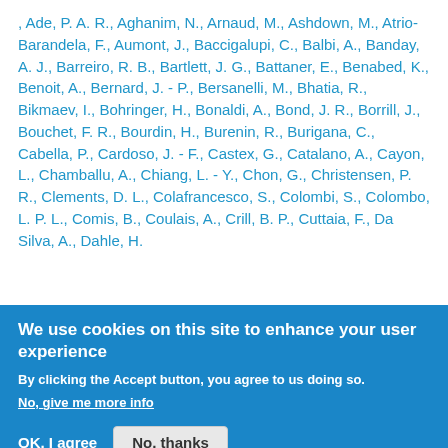, Ade, P. A. R., Aghanim, N., Arnaud, M., Ashdown, M., Atrio-Barandela, F., Aumont, J., Baccigalupi, C., Balbi, A., Banday, A. J., Barreiro, R. B., Bartlett, J. G., Battaner, E., Benabed, K., Benoit, A., Bernard, J. - P., Bersanelli, M., Bhatia, R., Bikmaev, I., Bohringer, H., Bonaldi, A., Bond, J. R., Borrill, J., Bouchet, F. R., Bourdin, H., Burenin, R., Burigana, C., Cabella, P., Cardoso, J. - F., Castex, G., Catalano, A., Cayon, L., Chamballu, A., Chiang, L. - Y., Chon, G., Christensen, P. R., Clements, D. L., Colafrancesco, S., Colombi, S., Colombo, L. P. L., Comis, B., Coulais, A., Crill, B. P., Cuttaia, F., Da Silva, A., Dahle, H.
We use cookies on this site to enhance your user experience
By clicking the Accept button, you agree to us doing so.
No, give me more info
OK, I agree
No, thanks